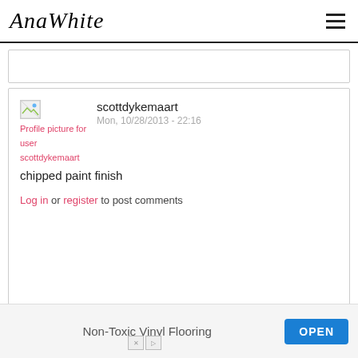AnaWhite
[Figure (screenshot): Partially visible comment card at top]
[Figure (photo): Profile picture thumbnail for user scottdykemaart]
Profile picture for user scottdykemaart
scottdykemaart
Mon, 10/28/2013 - 22:16
chipped paint finish
Log in or register to post comments
milkyways
Fri, 06/06/2014 - 02:35
I'm planing to redecorate my
Log in or register to post comments
[Figure (other): Advertisement banner: Non-Toxic Vinyl Flooring with OPEN button]